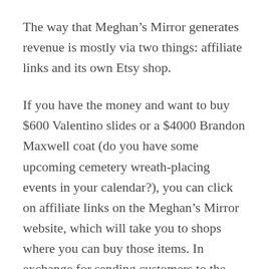The way that Meghan's Mirror generates revenue is mostly via two things: affiliate links and its own Etsy shop.
If you have the money and want to buy $600 Valentino slides or a $4000 Brandon Maxwell coat (do you have some upcoming cemetery wreath-placing events in your calendar?), you can click on affiliate links on the Meghan's Mirror website, which will take you to shops where you can buy those items. In exchange for sending customers to the site, Meghan's Mirror gets a cut of the purchase price (likely somewhere between 4-10%). Meghan's Mirror has partnered with affiliate/influencer company rewardStyle (also called rstyle). If you click one of the affiliate links on the Meghan's Mirror website,